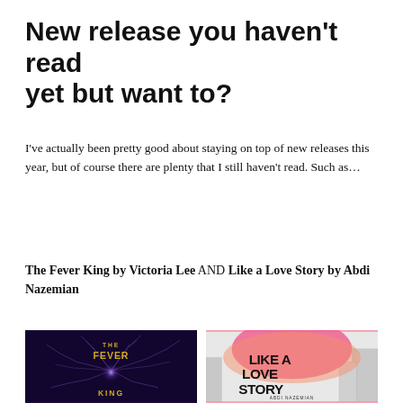New release you haven't read yet but want to?
I've actually been pretty good about staying on top of new releases this year, but of course there are plenty that I still haven't read. Such as…
The Fever King by Victoria Lee AND Like a Love Story by Abdi Nazemian
[Figure (photo): Two side-by-side book covers: left is 'The Fever King' by Victoria Lee showing a dark purple/blue background with glowing lightning-like branches; right is 'Like a Love Story' by Abdi Nazemian showing a pink/orange city street background with bold black brush-lettered title text.]